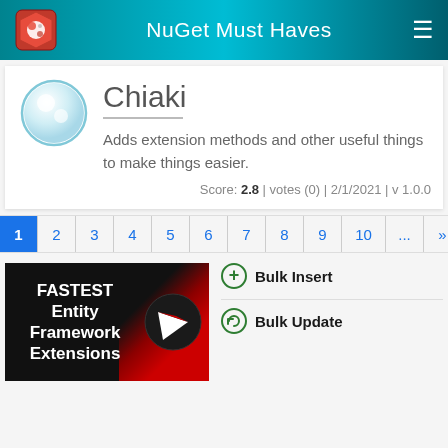NuGet Must Haves
Chiaki
Adds extension methods and other useful things to make things easier.
Score: 2.8 | votes (0) | 2/1/2021 | v 1.0.0
1 2 3 4 5 6 7 8 9 10 ... » »»
[Figure (screenshot): Advertisement banner for FASTEST Entity Framework Extensions with logo]
Bulk Insert
Bulk Update